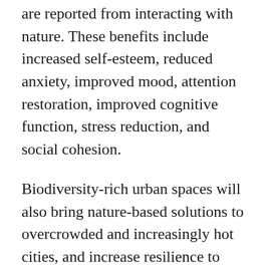are reported from interacting with nature. These benefits include increased self-esteem, reduced anxiety, improved mood, attention restoration, improved cognitive function, stress reduction, and social cohesion.
Biodiversity-rich urban spaces will also bring nature-based solutions to overcrowded and increasingly hot cities, and increase resilience to floods and climate change.
What role can play big